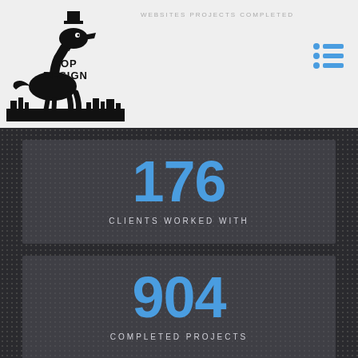[Figure (logo): Top Design logo with dinosaur/raptor silhouette and city skyline, black and white, text reads TOP DESIGN]
WEBSITES PROJECTS COMPLETED
176
CLIENTS WORKED WITH
904
COMPLETED PROJECTS